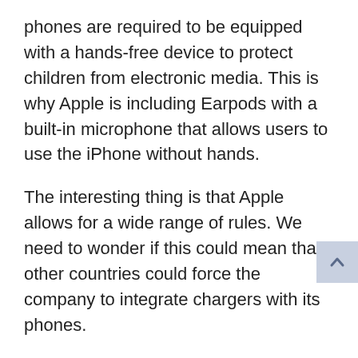phones are required to be equipped with a hands-free device to protect children from electronic media. This is why Apple is including Earpods with a built-in microphone that allows users to use the iPhone without hands.
The interesting thing is that Apple allows for a wide range of rules. We need to wonder if this could mean that other countries could force the company to integrate chargers with its phones.
In Brazil, Apple is facing what it wants to change excluding chargers and iPhone 13. The Consumer Protection Agency has announced that it wants to investigate the company's activities earlier this year hit Apple with a $ 2 million fine on the same issue is the iPhone 12 of 2020.
Apple has cited reasons for removing the brick bricks, saying that many of us already have USB chargers that